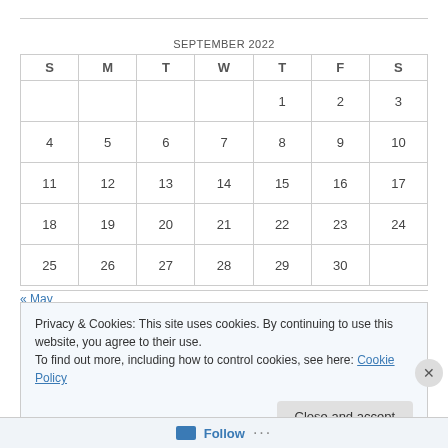SEPTEMBER 2022
| S | M | T | W | T | F | S |
| --- | --- | --- | --- | --- | --- | --- |
|  |  |  |  | 1 | 2 | 3 |
| 4 | 5 | 6 | 7 | 8 | 9 | 10 |
| 11 | 12 | 13 | 14 | 15 | 16 | 17 |
| 18 | 19 | 20 | 21 | 22 | 23 | 24 |
| 25 | 26 | 27 | 28 | 29 | 30 |  |
« May
Privacy & Cookies: This site uses cookies. By continuing to use this website, you agree to their use.
To find out more, including how to control cookies, see here: Cookie Policy
Close and accept
Follow